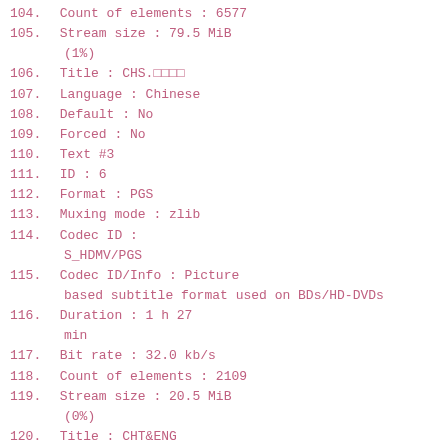104. Count of elements : 6577
105. Stream size : 79.5 MiB
      (1%)
106. Title : CHS.□□□□
107. Language : Chinese
108. Default : No
109. Forced : No
110. Text #3
111. ID : 6
112. Format : PGS
113. Muxing mode : zlib
114. Codec ID :
      S_HDMV/PGS
115. Codec ID/Info : Picture
      based subtitle format used on BDs/HD-DVDs
116. Duration : 1 h 27
      min
117. Bit rate : 32.0 kb/s
118. Count of elements : 2109
119. Stream size : 20.5 MiB
      (0%)
120. Title : CHT&ENG
121. Language : Chinese
122. Default : No
123. Forced : No
124. Text #4